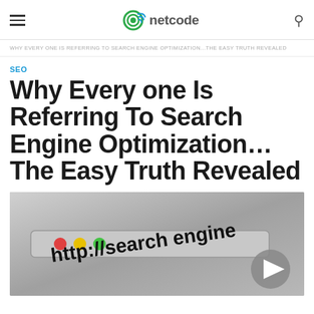netcode (logo with hamburger menu and search icon)
WHY EVERY ONE IS REFERRING TO SEARCH ENGINE OPTIMIZATION...THE EASY TRUTH REVEALED
SEO
Why Every one Is Referring To Search Engine Optimization...The Easy Truth Revealed
[Figure (photo): Close-up of a browser address bar showing 'http://search engine' text with traffic light colored buttons (red, yellow, green) and a play/navigation button overlay]